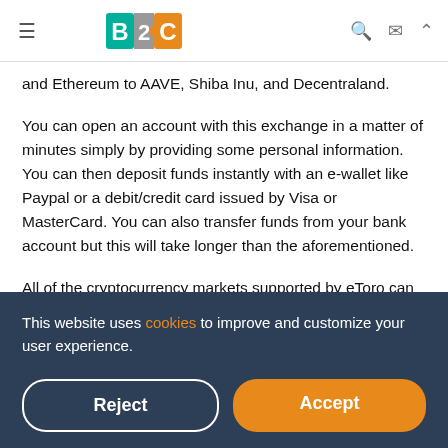B2C [logo] navigation header
and Ethereum to AAVE, Shiba Inu, and Decentraland.
You can open an account with this exchange in a matter of minutes simply by providing some personal information. You can then deposit funds instantly with an e-wallet like Paypal or a debit/credit card issued by Visa or MasterCard. You can also transfer funds from your bank account but this will take longer than the aforementioned.
All of the cryptocurrency markets supported by eToro can
This website uses cookies to improve and customize your user experience.
0.5% across all supported markets. Trading commissions